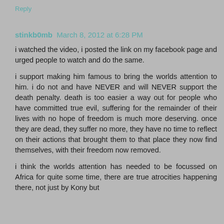Reply
stinkb0mb March 8, 2012 at 6:28 PM
i watched the video, i posted the link on my facebook page and urged people to watch and do the same.
i support making him famous to bring the worlds attention to him. i do not and have NEVER and will NEVER support the death penalty. death is too easier a way out for people who have committed true evil, suffering for the remainder of their lives with no hope of freedom is much more deserving. once they are dead, they suffer no more, they have no time to reflect on their actions that brought them to that place they now find themselves, with their freedom now removed.
i think the worlds attention has needed to be focussed on Africa for quite some time, there are true atrocities happening there, not just by Kony but